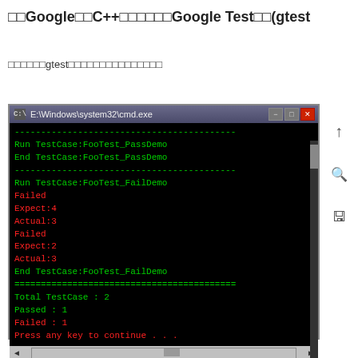□□Google□□C++□□□□□□Google Test□□(gtest)□□ ...
□□□□□□gtest□□□□□□□□□□□□□□□
[Figure (screenshot): Windows cmd.exe terminal window showing gtest output. Green text: dashes, Run TestCase:FooTest_PassDemo, End TestCase:FooTest_PassDemo, dashes, Run TestCase:FooTest_FailDemo. Red text: Failed, Expect:4, Actual:3, Failed, Expect:2, Actual:3. Green text: End TestCase:FooTest_FailDemo, dashes, Total TestCase : 2, Passed : 1. Red text: Failed : 1, Press any key to continue . . .]